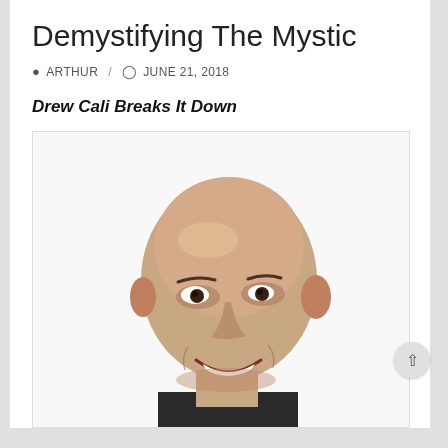Demystifying The Mystic
ARTHUR / JUNE 21, 2018
Drew Cali Breaks It Down
[Figure (photo): Headshot of a bald smiling man in a dark shirt against a white background]